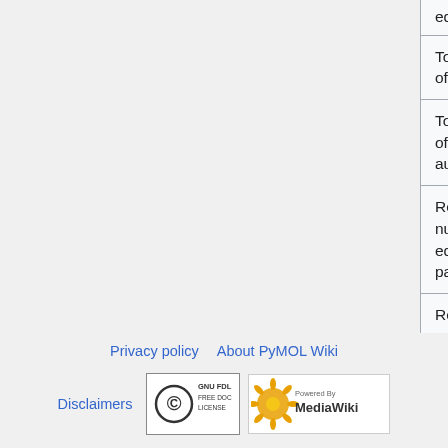| Property | Value |
| --- | --- |
| edit | 2015 |
| Total number of edits | 10 |
| Total number of distinct authors | 5 |
| Recent number of edits (within past 90 days) | 0 |
| Recent number of distinct authors | 0 |
Privacy policy   About PyMOL Wiki   Disclaimers